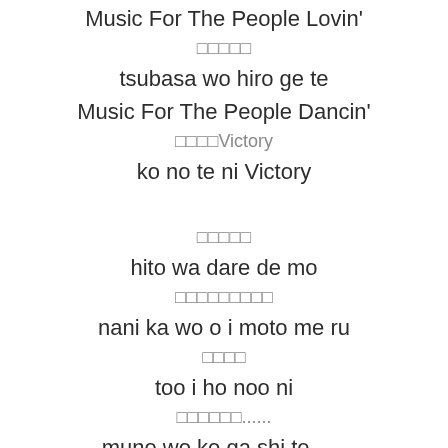Music For The People Lovin'
□□□□□
tsubasa wo hiro ge te
Music For The People Dancin'
□□□□Victory
ko no te ni Victory
□□□□□
hito wa dare de mo
□□□□□□□□□
nani ka wo o i moto me ru
□□□□
too i ho noo ni
□□□□□□......
mune wo ko ga shi te......
□□□□□□□□
kae tte ku ru ma de
□□□□□□